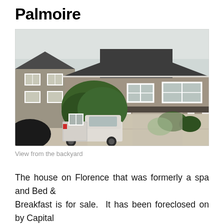Palmoire
[Figure (photo): Exterior view of a large two-story house with gray siding, white trim, a covered carport/porte-cochere, and trees in front. A white pickup truck is parked in the driveway. Overcast sky.]
View from the backyard
The house on Florence that was formerly a spa and Bed & Breakfast is for sale.  It has been foreclosed on by Capital One.  Steven and I went and viewed it yesterday with the